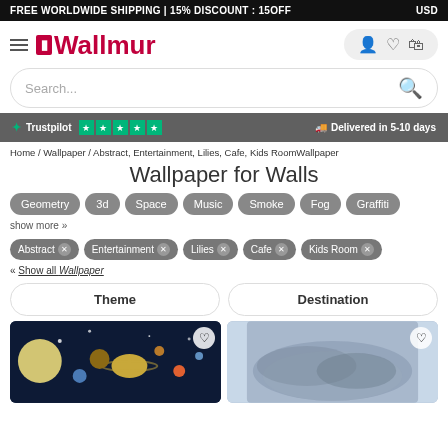FREE WORLDWIDE SHIPPING | 15% DISCOUNT : 15OFF    USD
[Figure (logo): Wallmur logo with pink/red brand color and hamburger menu]
Search...
✶ Trustpilot ★★★★★    🚚 Delivered in 5-10 days
Home / Wallpaper / Abstract, Entertainment, Lilies, Cafe, Kids RoomWallpaper
Wallpaper for Walls
Geometry
3d
Space
Music
Smoke
Fog
Graffiti
show more »
Abstract ✕   Entertainment ✕   Lilies ✕   Cafe ✕   Kids Room ✕
« Show all Wallpaper
Theme    Destination
[Figure (photo): Space/cosmos wallpaper thumbnail showing planets and solar system on dark blue background]
[Figure (photo): Blue smoke/fog wallpaper thumbnail]